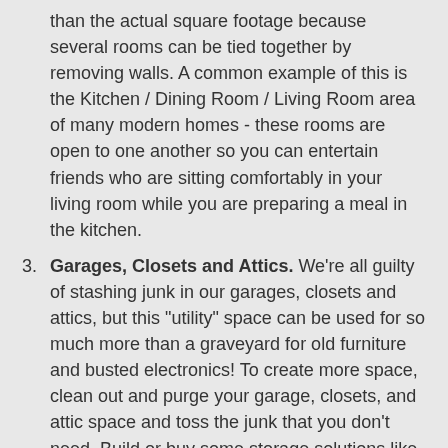than the actual square footage because several rooms can be tied together by removing walls. A common example of this is the Kitchen / Dining Room / Living Room area of many modern homes - these rooms are open to one another so you can entertain friends who are sitting comfortably in your living room while you are preparing a meal in the kitchen.
Garages, Closets and Attics. We're all guilty of stashing junk in our garages, closets and attics, but this "utility" space can be used for so much more than a graveyard for old furniture and busted electronics! To create more space, clean out and purge your garage, closets, and attic space and toss the junk that you don't need. Build or buy some storage solutions like overhead rafter rails and plastic storage container systems, and get your mess under control. This will help to open up this space for your cars, clothes, and other items that